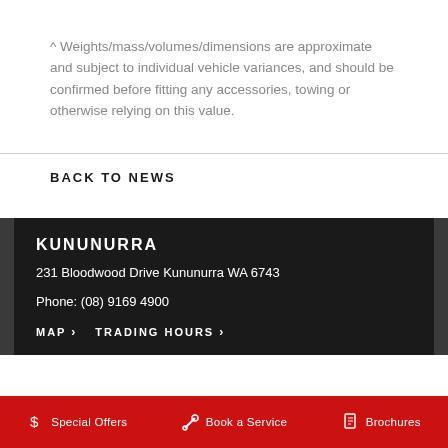^ Weights/mass/volumes/dimensions are approximate and subject to individual vehicle variances, and should be confirmed before fitting any accessories, towing or otherwise relying on this value.
BACK TO NEWS
KUNUNURRA
231 Bloodwood Drive Kununurra WA 6743
Phone: (08) 9169 4900
MAP › TRADING HOURS ›
Special Offers   Book a Service   Brochures